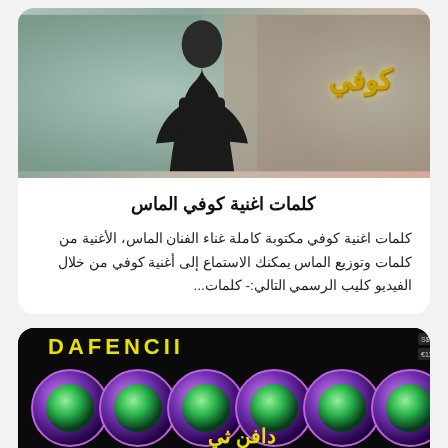[Figure (photo): Photo of a woman in dark outfit with Arabic Kufi script logo overlay on blurred background]
كلمات اغنية كوفي الماس
كلمات اغنية كوفي مكتوبة كاملة غناء الفنان الماس، الأغنية من كلمات وتوزيع الماس يمكنك الاستماع إلى أغنية كوفي من خلال الفيديو كليب الرسمي التالي:- كلمات...
[Figure (photo): Dafencii artwork image showing circular portrait thumbnails with Arabic text and yellow DAFENCII and ARTWORK text on dark background]